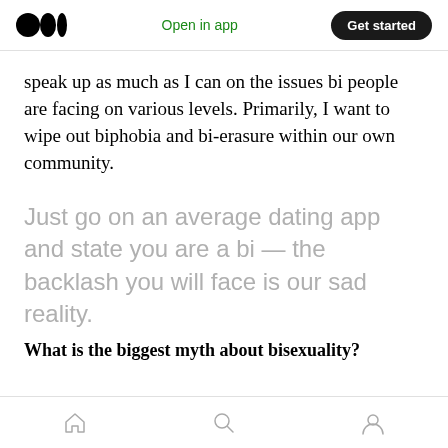Open in app  Get started
speak up as much as I can on the issues bi people are facing on various levels. Primarily, I want to wipe out biphobia and bi-erasure within our own community.
Just go on an average dating app and state you are a bi — the backlash you will face is our sad reality.
What is the biggest myth about bisexuality?
Home  Search  Profile